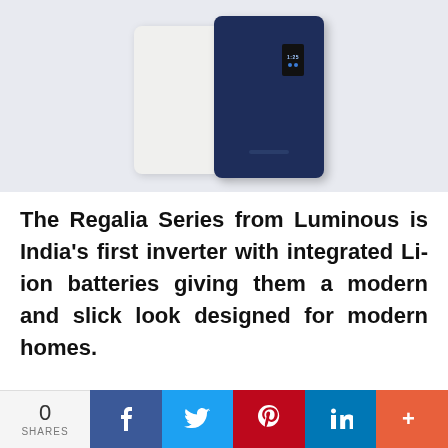[Figure (photo): Two Luminous Regalia Series inverters side by side — one in white/cream color on the left and one in navy blue color on the right. The navy unit has a small digital display screen and a vent at the bottom. Background is light blue-grey.]
The Regalia Series from Luminous is India's first inverter with integrated Li-ion batteries giving them a modern and slick look designed for modern homes.
The range is available between 1500 VA to
0 SHARES  [Facebook] [Twitter] [Pinterest] [LinkedIn] [More]